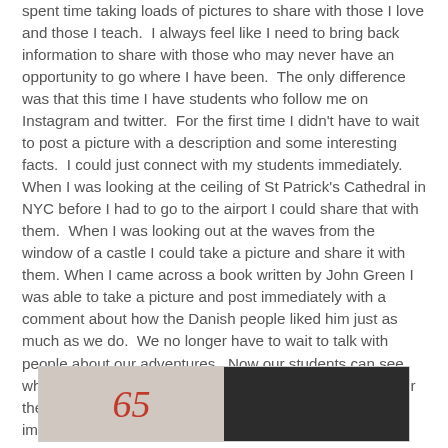spent time taking loads of pictures to share with those I love and those I teach. I always feel like I need to bring back information to share with those who may never have an opportunity to go where I have been. The only difference was that this time I have students who follow me on Instagram and twitter. For the first time I didn't have to wait to post a picture with a description and some interesting facts. I could just connect with my students immediately. When I was looking at the ceiling of St Patrick's Cathedral in NYC before I had to go to the airport I could share that with them. When I was looking out at the waves from the window of a castle I could take a picture and share it with them. When I came across a book written by John Green I was able to take a picture and post immediately with a comment about how the Danish people liked him just as much as we do. We no longer have to wait to talk with people about our adventures. Now our students can see what we see immediately. Think for a second of the power the rests within our social network. Their eyes can see immediately what my eyes can see. That is deep...
[Figure (photo): Partial image showing the number 65 in red italic text on a light background on the left half, and a dark/black background on the right half.]